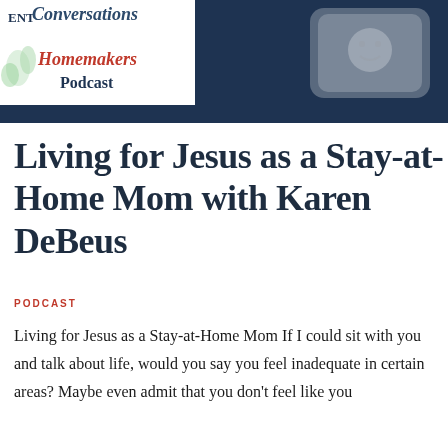[Figure (illustration): Podcast header image showing cursive text 'Conversations' with 'ENT' partially visible, 'Homemakers Podcast' text in serif font with floral decoration on left, and a dark navy rectangle with a phone/device on the right side.]
Living for Jesus as a Stay-at-Home Mom with Karen DeBeus
PODCAST
Living for Jesus as a Stay-at-Home Mom If I could sit with you and talk about life, would you say you feel inadequate in certain areas? Maybe even admit that you don't feel like you